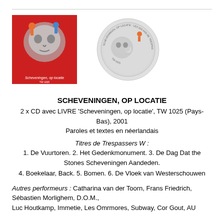[Figure (photo): CD album cover for 'Scheveningen, op locatie' with red background and illustrated figures]
[Figure (photo): CD disc for 'Scheveningen, op locatie' showing circular disc with label art]
SCHEVENINGEN, OP LOCATIE
2 x CD avec LIVRE 'Scheveningen, op locatie', TW 1025 (Pays-Bas), 2001
Paroles et textes en néerlandais
Titres de Trespassers W :
1. De Vuurtoren. 2. Het Gedenkmonument. 3. De Dag Dat the Stones Scheveningen Aandeden.
4. Boekelaar, Back. 5. Bomen. 6. De Vloek van Westerschouwen
Autres performeurs : Catharina van der Toorn, Frans Friedrich, Sébastien Morlighem, D.O.M.,
Luc Houtkamp, Immetie, Les Omrmores, Subway, Cor Gout, AU